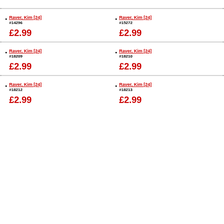Raver, Kim [24] #14296 £2.99
Raver, Kim [24] #15272 £2.99
Raver, Kim [24] #18209 £2.99
Raver, Kim [24] #18210 £2.99
Raver, Kim [24] #18212 £2.99
Raver, Kim [24] #18213 £2.99